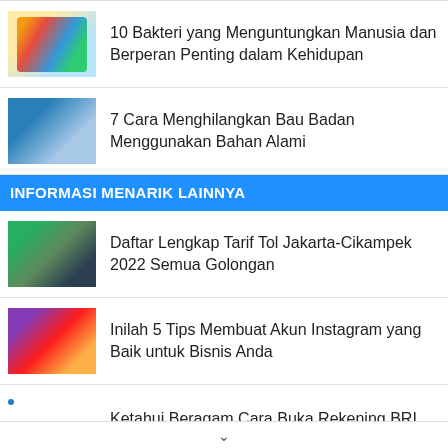10 Bakteri yang Menguntungkan Manusia dan Berperan Penting dalam Kehidupan
7 Cara Menghilangkan Bau Badan Menggunakan Bahan Alami
INFORMASI MENARIK LAINNYA
Daftar Lengkap Tarif Tol Jakarta-Cikampek 2022 Semua Golongan
Inilah 5 Tips Membuat Akun Instagram yang Baik untuk Bisnis Anda
Ketahui Beragam Cara Buka Rekening BRI Secara Online, Mudah dan Tanpa Ribet